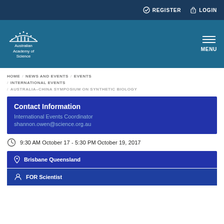REGISTER  LOGIN
[Figure (logo): Australian Academy of Science logo with arc/dome symbol and text]
HOME / NEWS AND EVENTS / EVENTS / INTERNATIONAL EVENTS / AUSTRALIA–CHINA SYMPOSIUM ON SYNTHETIC BIOLOGY
Contact Information
International Events Coordinator
shannon.owen@science.org.au
9:30 AM October 17 - 5:30 PM October 19, 2017
Brisbane Queensland
FOR Scientist